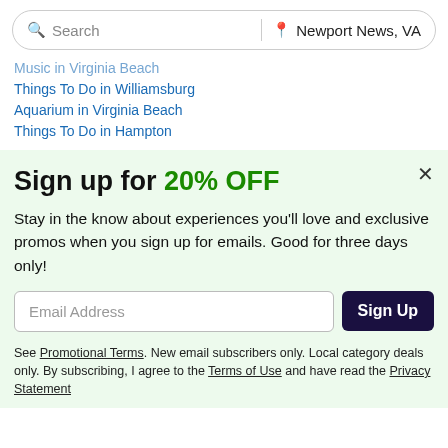[Figure (screenshot): Search bar with 'Search' placeholder on left and 'Newport News, VA' location on right]
Music in Virginia Beach
Things To Do in Williamsburg
Aquarium in Virginia Beach
Things To Do in Hampton
Sign up for 20% OFF
Stay in the know about experiences you'll love and exclusive promos when you sign up for emails. Good for three days only!
Email Address
Sign Up
See Promotional Terms. New email subscribers only. Local category deals only. By subscribing, I agree to the Terms of Use and have read the Privacy Statement